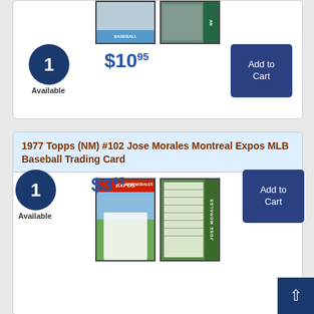[Figure (photo): Two baseball trading card images (front and back) partially visible at top of page]
1 Available
$10.95
Add to Cart
1977 Topps (NM) #102 Jose Morales Montreal Expos MLB Baseball Trading Card
[Figure (photo): 1977 Topps Jose Morales Montreal Expos baseball card front and back images]
1 Available
$3.95
Add to Cart